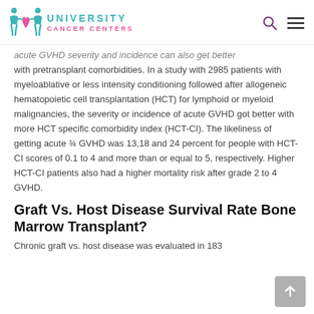University Cancer Centers
acute GVHD severity and incidence can also get better with pretransplant comorbidities. In a study with 2985 patients with myeloablative or less intensity conditioning followed after allogeneic hematopoietic cell transplantation (HCT) for lymphoid or myeloid malignancies, the severity or incidence of acute GVHD got better with more HCT specific comorbidity index (HCT-CI). The likeliness of getting acute ¾ GVHD was 13,18 and 24 percent for people with HCT-CI scores of 0.1 to 4 and more than or equal to 5, respectively. Higher HCT-CI patients also had a higher mortality risk after grade 2 to 4 GVHD.
Graft Vs. Host Disease Survival Rate Bone Marrow Transplant?
Chronic graft vs. host disease was evaluated in 183...